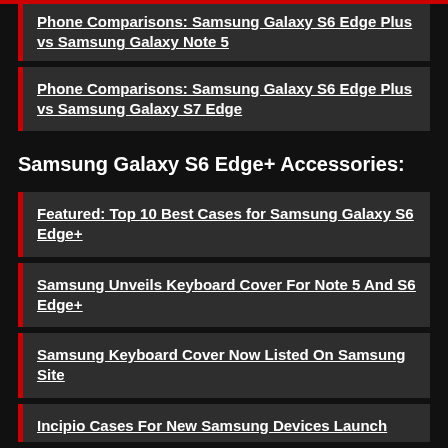Phone Comparisons: Samsung Galaxy S6 Edge Plus vs Samsung Galaxy Note 5
Phone Comparisons: Samsung Galaxy S6 Edge Plus vs Samsung Galaxy S7 Edge
Samsung Galaxy S6 Edge+ Accessories:
Featured: Top 10 Best Cases for Samsung Galaxy S6 Edge+
Samsung Unveils Keyboard Cover For Note 5 And S6 Edge+
Samsung Keyboard Cover Now Listed On Samsung Site
Incipio Cases For New Samsung Devices Launch